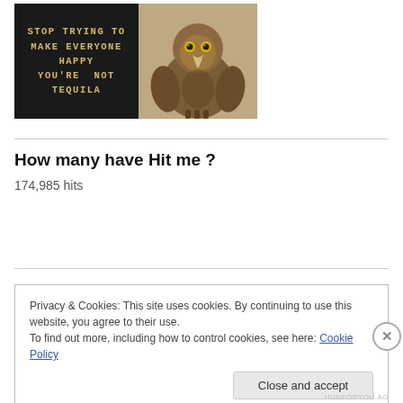[Figure (photo): Black letter board sign with gold/yellow text reading: STOP TRYING TO MAKE EVERYONE HAPPY YOU'RE NOT TEQUILA]
[Figure (photo): Close-up photo of a golden eagle or hawk facing the camera with intense yellow eyes and brown feathers]
How many have Hit me ?
174,985 hits
Privacy & Cookies: This site uses cookies. By continuing to use this website, you agree to their use.
To find out more, including how to control cookies, see here: Cookie Policy
HUNFORYOU.AG